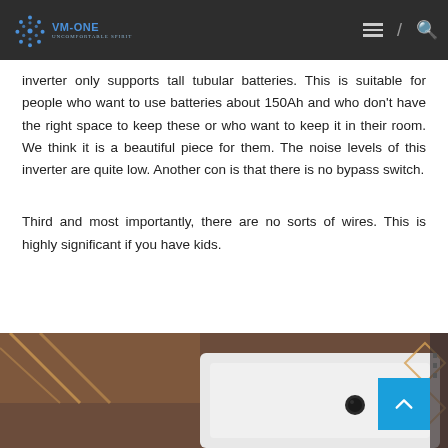VM-ONE
inverter only supports tall tubular batteries. This is suitable for people who want to use batteries about 150Ah and who don't have the right space to keep these or who want to keep it in their room. We think it is a beautiful piece for them. The noise levels of this inverter are quite low. Another con is that there is no bypass switch.
Third and most importantly, there are no sorts of wires. This is highly significant if you have kids.
[Figure (photo): Photo of a white inverter device against a warm-lit background with geometric lighting patterns]